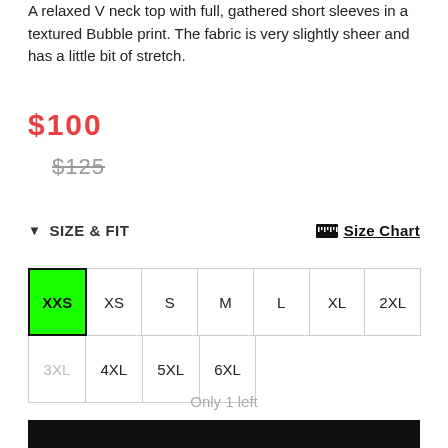A relaxed V neck top with full, gathered short sleeves in a textured Bubble print. The fabric is very slightly sheer and has a little bit of stretch.
$100
$125
SIZE & FIT
Size Chart
| XXS | XS | S | M | L | XL | 2XL |
| 3XL | 4XL | 5XL | 6XL |
Only 1 left
ADD TO BAG